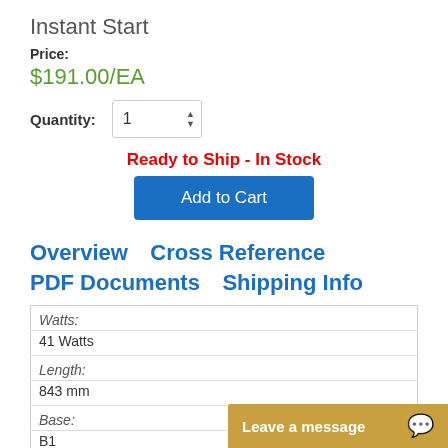Instant Start
Price:
$191.00/EA
Quantity: 1
Ready to Ship - In Stock
Add to Cart
Overview   Cross Reference   PDF Documents   Shipping Info
| Watts: |  |
| 41 Watts |  |
| Length: |  |
| 843 mm |  |
| Base: |  |
| B1 |  |
Leave a message